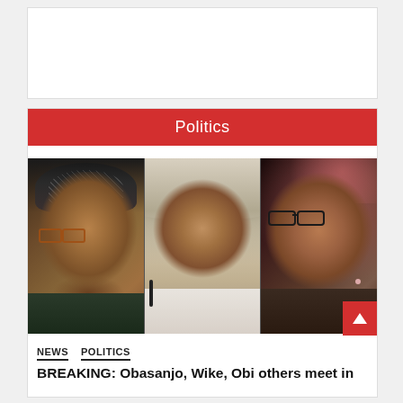[Figure (other): White empty advertisement box at the top of the page]
Politics
[Figure (photo): Composite photo of three Nigerian politicians side by side: left - elderly man wearing a traditional patterned cap and glasses; center - man in white hat and white outfit; right - man wearing glasses in a dark outfit]
NEWS  POLITICS
BREAKING: Obasanjo, Wike, Obi others meet in